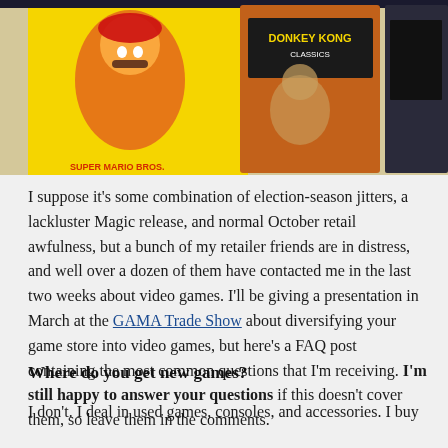[Figure (photo): Photograph of vintage Nintendo game cartridge boxes including Super Mario Bros and Donkey Kong Classics laid on a surface]
I suppose it's some combination of election-season jitters, a lackluster Magic release, and normal October retail awfulness, but a bunch of my retailer friends are in distress, and well over a dozen of them have contacted me in the last two weeks about video games. I'll be giving a presentation in March at the GAMA Trade Show about diversifying your game store into video games, but here's a FAQ post containing the most common questions that I'm receiving. I'm still happy to answer your questions if this doesn't cover them, so leave them in the comments.
Where do you get new games?
I don't. I deal in used games, consoles, and accessories. I buy